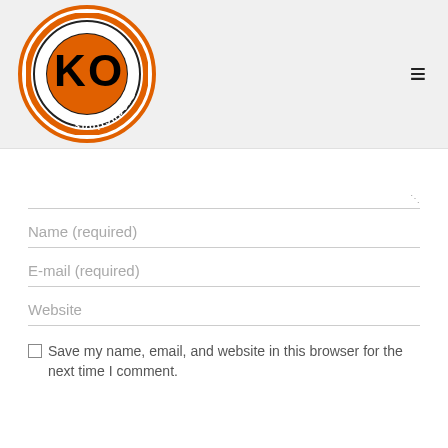[Figure (logo): Kari-On Productions circular logo with orange border, black and white K and O letters in center]
Name (required)
E-mail (required)
Website
Save my name, email, and website in this browser for the next time I comment.